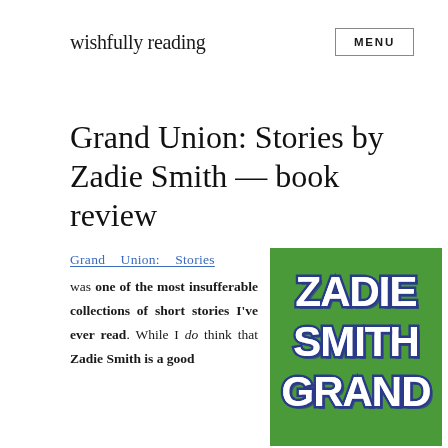wishfully reading
Grand Union: Stories by Zadie Smith — book review
Grand Union: Stories was one of the most insufferable collections of short stories I've ever read. While I do think that Zadie Smith is a good
[Figure (illustration): Book cover of Grand Union by Zadie Smith — green background with bold white and navy blue stylized lettering reading ZADIE SMITH GRAND (UNION implied), retro decorative font with shadow effect]